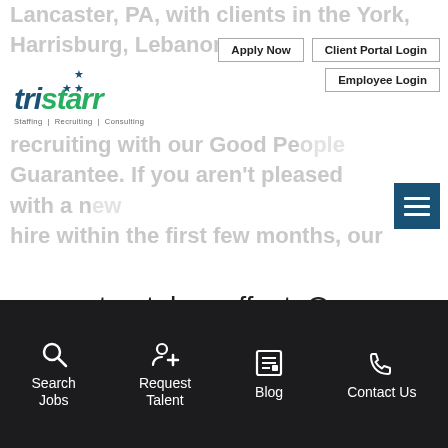[Figure (logo): Tristarr Staffing | Recruiting | Consulting logo with blue and green text and star icons]
Apply Now | Client Portal Login | Employee Login
Lancaster, PA, with clients in the York, Harrisburg, Lebanon, ... recruiting with our Good People Guarantee. If you aren't pleased with a new hire within the first few months, our guarantee takes effect. Our recruiters will replace the person with another candidate at no additional cost or provide an agreed-upon, prorated refund. But our clients rarely request that, because we find job candidates who are a great fit nearly every
Search Jobs | Request Talent | Blog | Contact Us